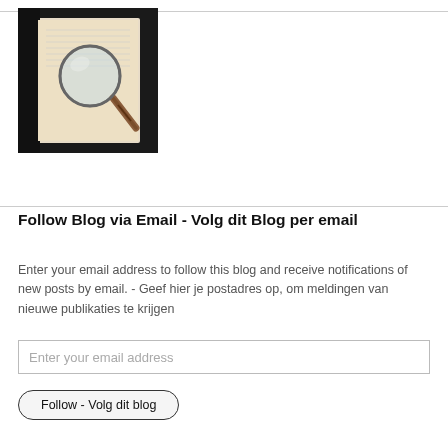[Figure (photo): Photo of an open book with a magnifying glass resting on it, dark background]
Follow Blog via Email - Volg dit Blog per email
Enter your email address to follow this blog and receive notifications of new posts by email. - Geef hier je postadres op, om meldingen van nieuwe publikaties te krijgen
Enter your email address
Follow - Volg dit blog